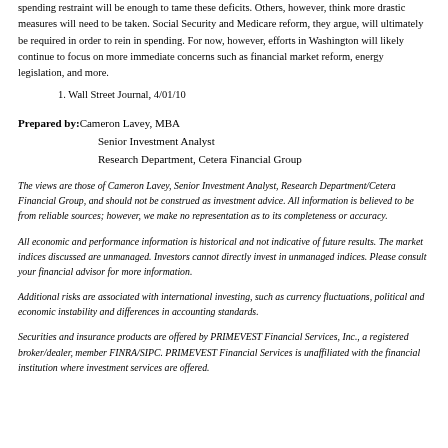spending restraint will be enough to tame these deficits. Others, however, think more drastic measures will need to be taken. Social Security and Medicare reform, they argue, will ultimately be required in order to rein in spending. For now, however, efforts in Washington will likely continue to focus on more immediate concerns such as financial market reform, energy legislation, and more.
1. Wall Street Journal, 4/01/10
Prepared by: Cameron Lavey, MBA
Senior Investment Analyst
Research Department, Cetera Financial Group
The views are those of Cameron Lavey, Senior Investment Analyst, Research Department/Cetera Financial Group, and should not be construed as investment advice. All information is believed to be from reliable sources; however, we make no representation as to its completeness or accuracy.
All economic and performance information is historical and not indicative of future results. The market indices discussed are unmanaged. Investors cannot directly invest in unmanaged indices. Please consult your financial advisor for more information.
Additional risks are associated with international investing, such as currency fluctuations, political and economic instability and differences in accounting standards.
Securities and insurance products are offered by PRIMEVEST Financial Services, Inc., a registered broker/dealer, member FINRA/SIPC. PRIMEVEST Financial Services is unaffiliated with the financial institution where investment services are offered.